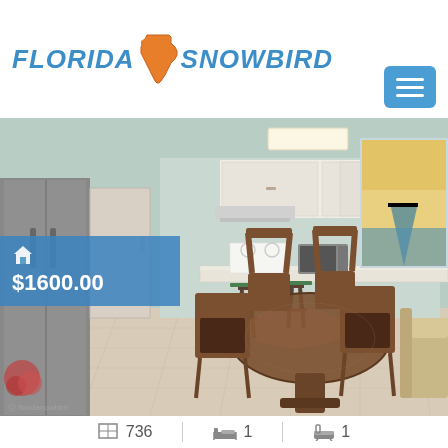[Figure (logo): Florida Snowbird logo with orange Florida state shape outline and blue text reading FLORIDA SNOWBIRD]
[Figure (photo): Interior photo of a furnished apartment showing open-plan kitchen and dining area with hardwood floors, white kitchen cabinets, stainless appliances, dining table with chairs, and a price overlay of $1600.00 in the top left corner]
$1600.00
736  1  1